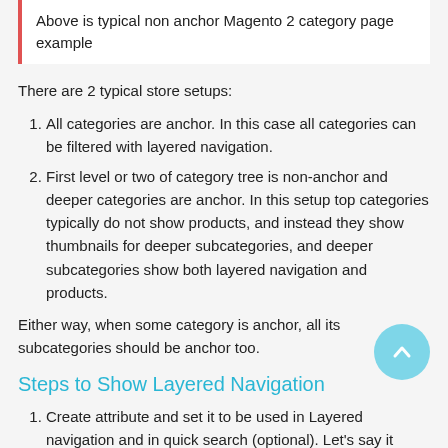Above is typical non anchor Magento 2 category page example
There are 2 typical store setups:
All categories are anchor. In this case all categories can be filtered with layered navigation.
First level or two of category tree is non-anchor and deeper categories are anchor. In this setup top categories typically do not show products, and instead they show thumbnails for deeper subcategories, and deeper subcategories show both layered navigation and products.
Either way, when some category is anchor, all its subcategories should be anchor too.
Steps to Show Layered Navigation
Create attribute and set it to be used in Layered navigation and in quick search (optional). Let's say it